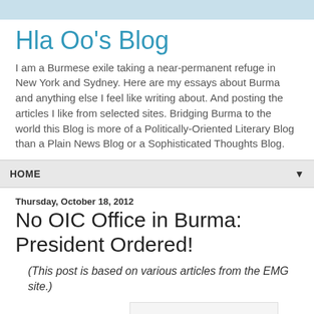Hla Oo's Blog
I am a Burmese exile taking a near-permanent refuge in New York and Sydney. Here are my essays about Burma and anything else I feel like writing about. And posting the articles I like from selected sites. Bridging Burma to the world this Blog is more of a Politically-Oriented Literary Blog than a Plain News Blog or a Sophisticated Thoughts Blog.
HOME
Thursday, October 18, 2012
No OIC Office in Burma: President Ordered!
(This post is based on various articles from the EMG site.)
[Figure (other): Partial image placeholder at bottom of page]